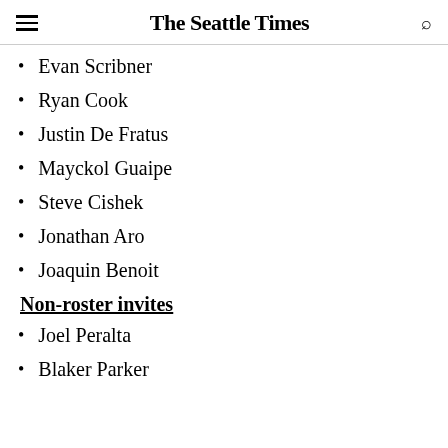The Seattle Times
Evan Scribner
Ryan Cook
Justin De Fratus
Mayckol Guaipe
Steve Cishek
Jonathan Aro
Joaquin Benoit
Non-roster invites
Joel Peralta
Blaker Parker